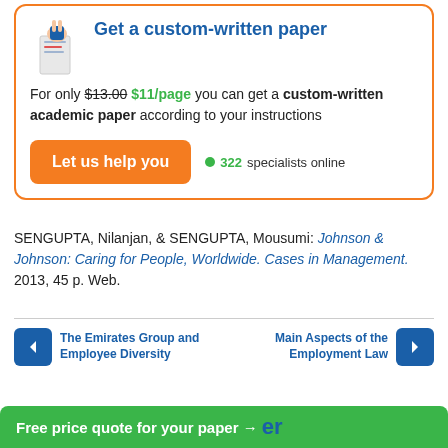Get a custom-written paper
For only $13.00 $11/page you can get a custom-written academic paper according to your instructions
Let us help you
322 specialists online
SENGUPTA, Nilanjan, & SENGUPTA, Mousumi: Johnson & Johnson: Caring for People, Worldwide. Cases in Management. 2013, 45 p. Web.
The Emirates Group and Employee Diversity
Main Aspects of the Employment Law
Free price quote for your paper →